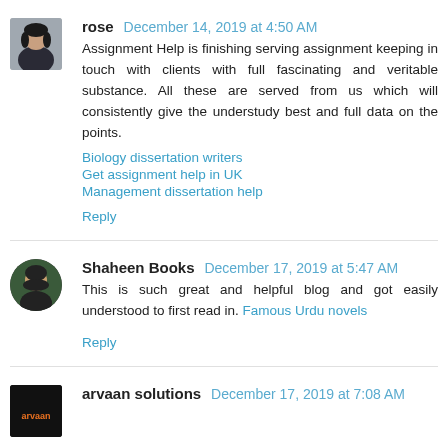[Figure (photo): Avatar photo of user 'rose' - woman in dark jacket]
rose  December 14, 2019 at 4:50 AM
Assignment Help is finishing serving assignment keeping in touch with clients with full fascinating and veritable substance. All these are served from us which will consistently give the understudy best and full data on the points.
Biology dissertation writers
Get assignment help in UK
Management dissertation help
Reply
[Figure (photo): Avatar photo of user 'Shaheen Books' - person with green background, circular crop]
Shaheen Books  December 17, 2019 at 5:47 AM
This is such great and helpful blog and got easily understood to first read in. Famous Urdu novels
Reply
[Figure (logo): Avatar logo for 'arvaan solutions' - dark background with text]
arvaan solutions  December 17, 2019 at 7:08 AM